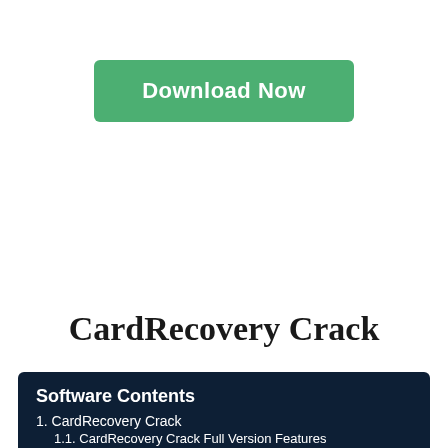[Figure (other): Green 'Download Now' button]
CardRecovery Crack
Software Contents
1. CardRecovery Crack
1.1. CardRecovery Crack Full Version Features